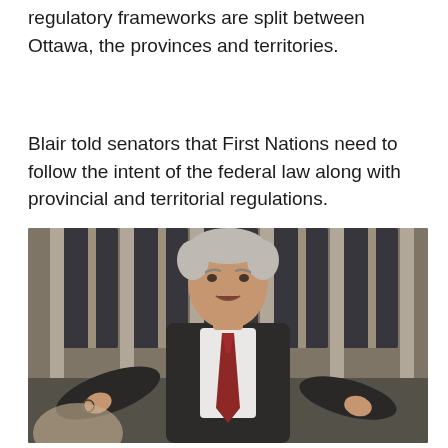regulatory frameworks are split between Ottawa, the provinces and territories.
Blair told senators that First Nations need to follow the intent of the federal law along with provincial and territorial regulations.
[Figure (photo): A middle-aged man in a dark suit and dark red tie, holding glasses in one hand, speaking with both hands gesturing outward. He appears to be standing in a formal chamber or parliament building with large windows visible in the background.]